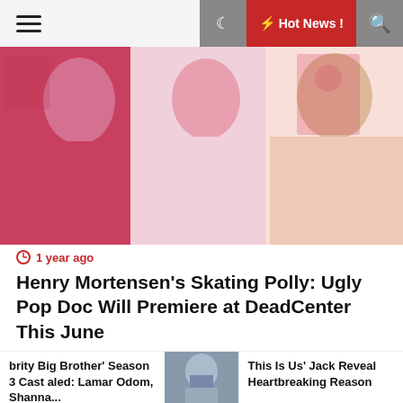☰  🌙  ⚡ Hot News !  🔍
[Figure (photo): Three young women in pink outfits posed against a pink background with decorative elements]
⏱ 1 year ago
Henry Mortensen's Skating Polly: Ugly Pop Doc Will Premiere at DeadCenter This June
[Figure (photo): Blonde woman at an event with CONSTANTIN and VACHERON C branding in background]
[Figure (photo): Man with beard in casual shirt]
brity Big Brother' Season 3 Cast aled: Lamar Odom, Shanna...
This Is Us' Jack Reveal Heartbreaking Reason